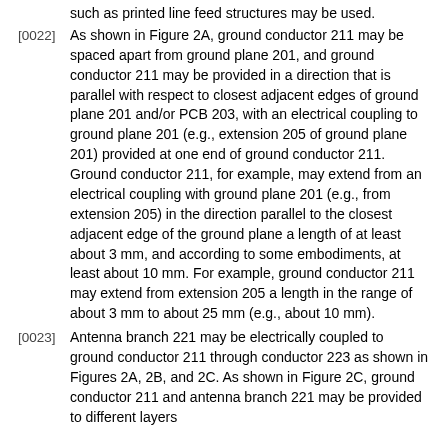such as printed line feed structures may be used.
[0022] As shown in Figure 2A, ground conductor 211 may be spaced apart from ground plane 201, and ground conductor 211 may be provided in a direction that is parallel with respect to closest adjacent edges of ground plane 201 and/or PCB 203, with an electrical coupling to ground plane 201 (e.g., extension 205 of ground plane 201) provided at one end of ground conductor 211. Ground conductor 211, for example, may extend from an electrical coupling with ground plane 201 (e.g., from extension 205) in the direction parallel to the closest adjacent edge of the ground plane a length of at least about 3 mm, and according to some embodiments, at least about 10 mm. For example, ground conductor 211 may extend from extension 205 a length in the range of about 3 mm to about 25 mm (e.g., about 10 mm).
[0023] Antenna branch 221 may be electrically coupled to ground conductor 211 through conductor 223 as shown in Figures 2A, 2B, and 2C. As shown in Figure 2C, ground conductor 211 and antenna branch 221 may be provided to different layers...